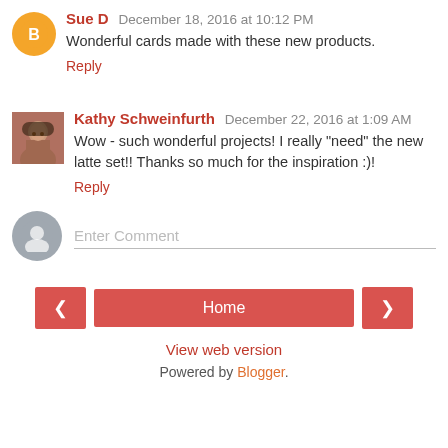Sue D  December 18, 2016 at 10:12 PM
Wonderful cards made with these new products.
Reply
Kathy Schweinfurth  December 22, 2016 at 1:09 AM
Wow - such wonderful projects! I really "need" the new latte set!! Thanks so much for the inspiration :)!
Reply
Enter Comment
Home
View web version
Powered by Blogger.